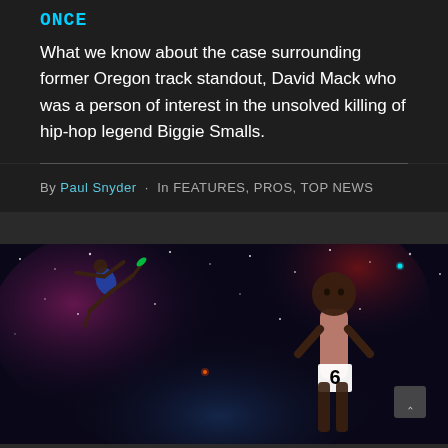ONCE
What we know about the case surrounding former Oregon track standout, David Mack who was a person of interest in the unsolved killing of hip-hop legend Biggie Smalls.
By Paul Snyder · In FEATURES, PROS, TOP NEWS
[Figure (photo): Composite photo showing two track athletes: one hurdler on the left leaping against a cosmic/nebula background, and a runner wearing number 6 on the right in a tank top, also set against the same space/nebula background.]